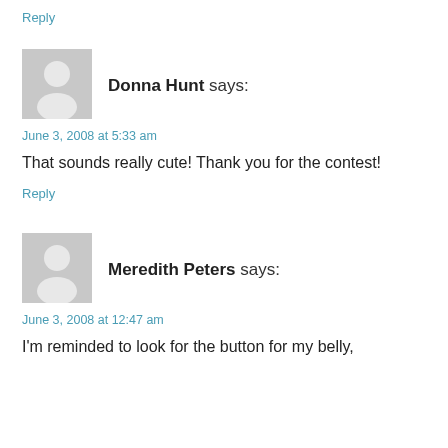Reply
[Figure (illustration): Gray placeholder avatar icon for Donna Hunt]
Donna Hunt says:
June 3, 2008 at 5:33 am
That sounds really cute! Thank you for the contest!
Reply
[Figure (illustration): Gray placeholder avatar icon for Meredith Peters]
Meredith Peters says:
June 3, 2008 at 12:47 am
I'm reminded to look for the button for my belly,